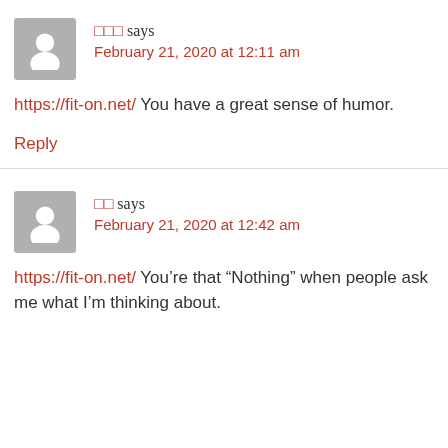□□□ says
February 21, 2020 at 12:11 am
https://fit-on.net/ You have a great sense of humor.
Reply
□□ says
February 21, 2020 at 12:42 am
https://fit-on.net/ You're that "Nothing" when people ask me what I'm thinking about.